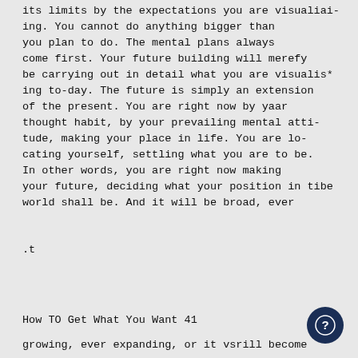its limits by the expectations you are visualiai-ing. You cannot do anything bigger than you plan to do. The mental plans always come first. Your future building will merefy be carrying out in detail what you are visualis*ing to-day. The future is simply an extension of the present. You are right now by yaar thought habit, by your prevailing mental atti-tude, making your place in life. You are lo-cating yourself, settling what you are to be. In other words, you are right now making your future, deciding what your position in tibe world shall be. And it will be broad, ever
.t
How TO Get What You Want 41
growing, ever expanding, or it vsrill become